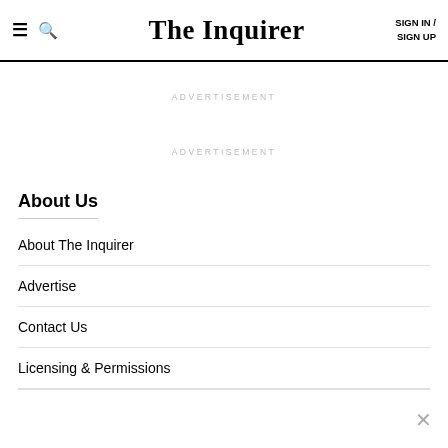The Inquirer — SIGN IN / SIGN UP
ADVERTISEMENT
ADVERTISEMENT
About Us
About The Inquirer
Advertise
Contact Us
Licensing & Permissions